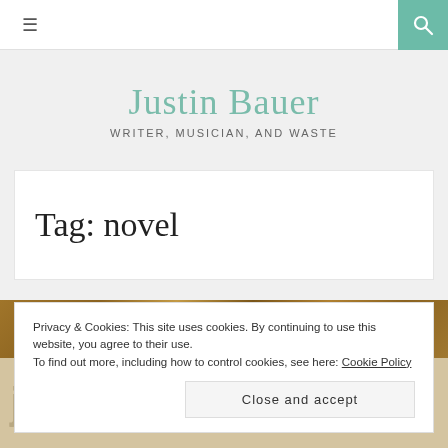≡  [menu icon] | [search icon]
Justin Bauer
WRITER, MUSICIAN, AND WASTE
Tag: novel
[Figure (photo): Wooden background with partially visible text 'jennifer egan' in large typography]
Privacy & Cookies: This site uses cookies. By continuing to use this website, you agree to their use.
To find out more, including how to control cookies, see here: Cookie Policy
Close and accept